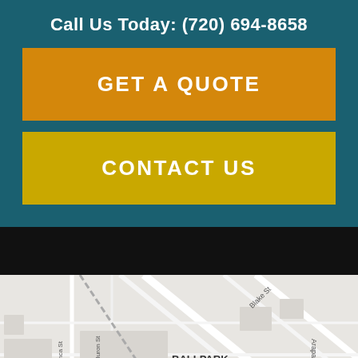Call Us Today: (720) 694-8658
GET A QUOTE
CONTACT US
[Figure (map): Google Maps view showing Ballpark District, Five Points, Union Station areas in Denver, CO with a red location pin marker. Streets visible include Walnut St, Larimer St, Blake St, Walnut St, Arapahoe St, Inca St, Huron St. A zoom-in button (+) is visible in the bottom right.]